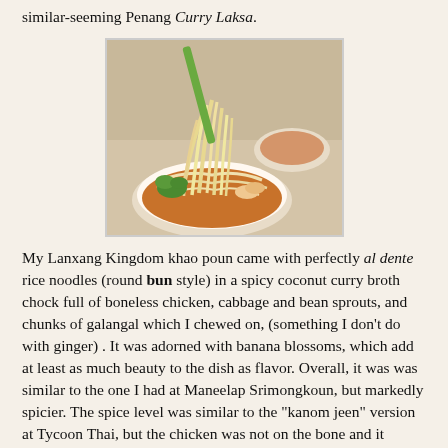similar-seeming Penang Curry Laksa.
[Figure (photo): A bowl of khao poun (Lao coconut curry noodle soup) with rice noodles being lifted with chopsticks, garnished with banana blossoms and herbs, in a restaurant setting.]
My Lanxang Kingdom khao poun came with perfectly al dente rice noodles (round bun style) in a spicy coconut curry broth chock full of boneless chicken, cabbage and bean sprouts, and chunks of galangal which I chewed on, (something I don't do with ginger) .  It was adorned with banana blossoms, which add at least as much beauty to the dish as flavor.  Overall, it was was similar to the one I had at Maneelap Srimongkoun, but markedly spicier. The spice level was similar to the "kanom jeen" version at Tycoon Thai, but the chicken was not on the bone and it lacked the blood cubes of the Isan version.  The flavor was as complex as it was spicy, and overall it deserves a honored place in the Pantheon of coconut-curry-chicken-noodle soups of Southeast Asia.